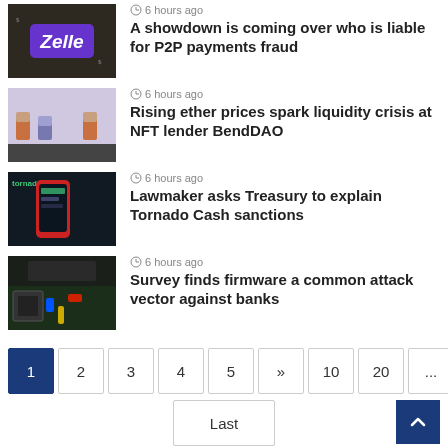[Figure (photo): Phone showing Zelle app logo against dollar bills background]
6 hours ago
A showdown is coming over who is liable for P2P payments fraud
[Figure (photo): Pixel art characters on a dark stage — NFT artwork]
6 hours ago
Rising ether prices spark liquidity crisis at NFT lender BendDAO
[Figure (photo): Hand holding phone showing Tornado Cash app]
6 hours ago
Lawmaker asks Treasury to explain Tornado Cash sanctions
[Figure (photo): Circuit board with CPU and cables — firmware vulnerability]
6 hours ago
Survey finds firmware a common attack vector against banks
1
2
3
4
5
»
10
20
...
Last